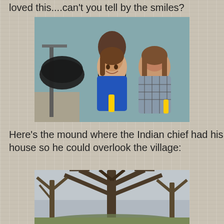loved this....can't you tell by the smiles?
[Figure (photo): Three children, one boy standing behind two girls, in what appears to be a museum or classroom setting. The girls are wearing blue shirts and holding yellow items. There is a large magnifying lamp to the left.]
Here's the mound where the Indian chief had his house so he could overlook the village:
[Figure (photo): Bare winter trees photographed from below looking up, with gray sky visible through the branches.]